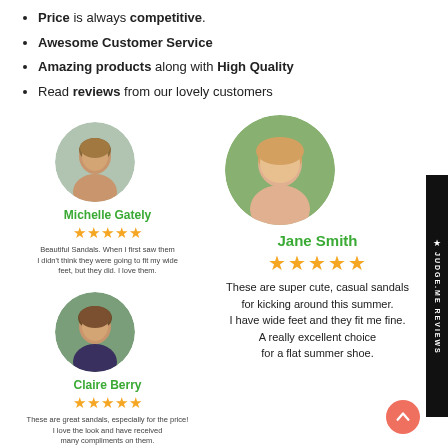Price is always competitive.
Awesome Customer Service
Amazing products along with High Quality
Read reviews from our lovely customers
[Figure (photo): Circular avatar photo of Michelle Gately reviewer]
Michelle Gately
★★★★★
Beautiful Sandals. When I first saw them I didn't think they were going to fit my wide feet, but they did. I love them.
[Figure (photo): Circular avatar photo of Claire Berry reviewer]
Claire Berry
★★★★★
These are great sandals, especially for the price! I love the look and have received many compliments on them.
[Figure (photo): Circular avatar photo of Jane Smith reviewer]
Jane Smith
★★★★★
These are super cute, casual sandals for kicking around this summer. I have wide feet and they fit me fine. A really excellent choice for a flat summer shoe.